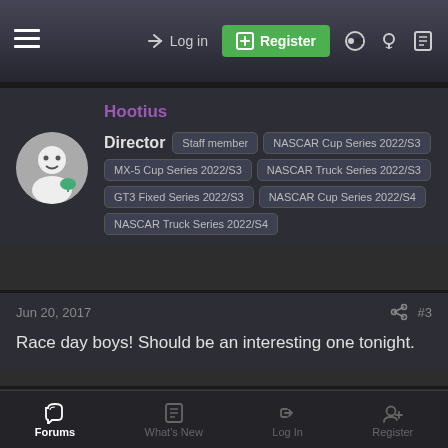Log in | Register
Hootius
Director | Staff member | NASCAR Cup Series 2022/S3 | MX-5 Cup Series 2022/S3 | NASCAR Truck Series 2022/S3 | GT3 Fixed Series 2022/S3 | NASCAR Cup Series 2022/S4 | NASCAR Truck Series 2022/S4
Jun 20, 2017  #3
Race day boys! Should be an interesting one tonight.
Pitricio
Premium Member
Forums | What's New | Log In | Register